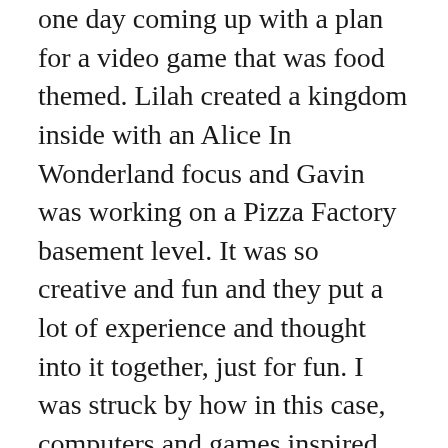one day coming up with a plan for a video game that was food themed. Lilah created a kingdom inside with an Alice In Wonderland focus and Gavin was working on a Pizza Factory basement level. It was so creative and fun and they put a lot of experience and thought into it together, just for fun. I was struck by how in this case, computers and games inspired creativity for them rather than stifled it.
We baked spritz cookies, vegan and gluten free for the first time. The kid enjoyed watching the shapes that come out of the strangely decorated